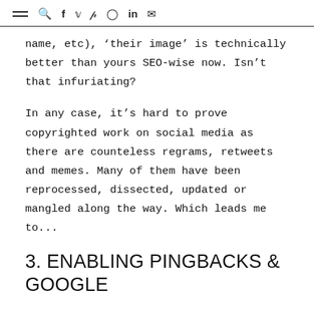≡ 🔍 f 𝕏 𝗽 ⊙ in ✉
name, etc), 'their image' is technically better than yours SEO-wise now. Isn't that infuriating?
In any case, it's hard to prove copyrighted work on social media as there are counteless regrams, retweets and memes. Many of them have been reprocessed, dissected, updated or mangled along the way. Which leads me to...
3. ENABLING PINGBACKS & GOOGLE